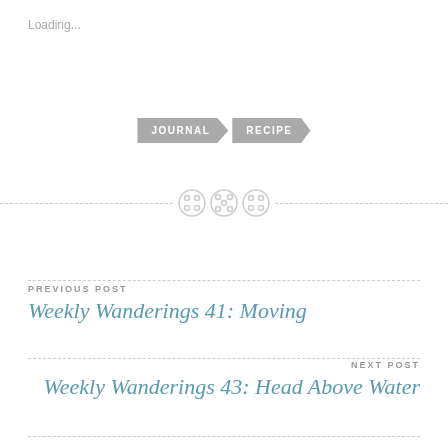Loading...
[Figure (infographic): Two gray arrow/chevron tags reading JOURNAL and RECIPE]
[Figure (infographic): Three decorative button icons on a dashed horizontal divider line]
PREVIOUS POST
Weekly Wanderings 41: Moving
NEXT POST
Weekly Wanderings 43: Head Above Water